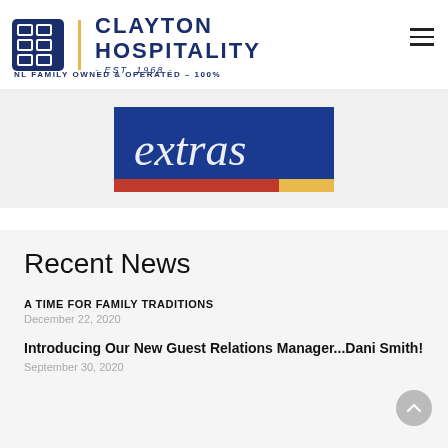[Figure (logo): Clayton Hospitality logo with square grid icon, gold vertical divider, blue text reading CLAYTON HOSPITALITY - EST. 1968 -, and tagline NL FAMILY OWNED & OPERATED – 100%]
[Figure (photo): Gray banner section with a partial view of a colorful cursive logo/sign with blue background and red/yellow accent stripe, text reads 'extras' in cursive]
Recent News
A TIME FOR FAMILY TRADITIONS
December 22, 2020
Introducing Our New Guest Relations Manager...Dani Smith!
September 30, 2020